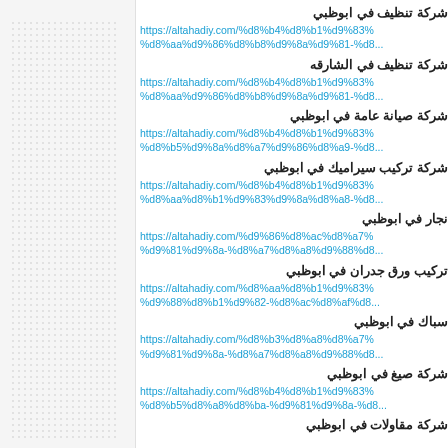شركة تنظيف في ابوظبي
https://altahadiy.com/%d8%b4%d8%b1%d9%83%
%d8%aa%d9%86%d8%b8%d9%8a%d9%81-%d8...
شركة تنظيف في الشارقه
https://altahadiy.com/%d8%b4%d8%b1%d9%83%
%d8%aa%d9%86%d8%b8%d9%8a%d9%81-%d8...
شركة صيانة عامة في ابوظبي
https://altahadiy.com/%d8%b4%d8%b1%d9%83%
%d8%b5%d9%8a%d8%a7%d9%86%d8%a9-%d8...
شركة تركيب سيراميك في ابوظبي
https://altahadiy.com/%d8%b4%d8%b1%d9%83%
%d8%aa%d8%b1%d9%83%d9%8a%d8%a8-%d8...
نجار في ابوظبي
https://altahadiy.com/%d9%86%d8%ac%d8%a7%
%d9%81%d9%8a-%d8%a7%d8%a8%d9%88%d8...
تركيب ورق جدران في ابوظبي
https://altahadiy.com/%d8%aa%d8%b1%d9%83%
%d9%88%d8%b1%d9%82-%d8%ac%d8%af%d8...
سباك في ابوظبي
https://altahadiy.com/%d8%b3%d8%a8%d8%a7%
%d9%81%d9%8a-%d8%a7%d8%a8%d9%88%d8...
شركة صيغ في ابوظبي
https://altahadiy.com/%d8%b4%d8%b1%d9%83%
%d8%b5%d8%a8%d8%ba-%d9%81%d9%8a-%d8...
شركة مقاولات في ابوظبي